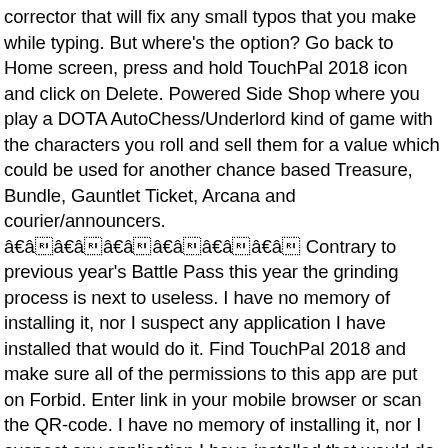corrector that will fix any small typos that you make while typing. But where's the option? Go back to Home screen, press and hold TouchPal 2018 icon and click on Delete. Powered Side Shop where you play a DOTA AutoChess/Underlord kind of game with the characters you roll and sell them for a value which could be used for another chance based Treasure, Bundle, Gauntlet Ticket, Arcana and courier/announcers. ââââââââââââ Contrary to previous year's Battle Pass this year the grinding process is next to useless. I have no memory of installing it, nor I suspect any application I have installed that would do it. Find TouchPal 2018 and make sure all of the permissions to this app are put on Forbid. Enter link in your mobile browser or scan the QR-code. I have no memory of installing it, nor I suspect any application I have installed that would do it. ââââââ This one application gives the vibes of a malware. Installation options. 1. So I highly doubt the guys at Oppo are behind this. ââââââ ââââââââââââ TouchPal Keyboard is a keyboard for Android devices that allows you to use a series of shortcuts that enable you to type much more quickly. Click on Permissions and switch to Apps tab to manage permissions granted to Applications on your phone. ââââââââââââââ To find Android version: go to "Settings" - "About the phone" - "Android version" 2. Mobile together 43543 views. ã¡ãã¡ãã¡ãã¡ãã¡ãã¡ãã¡ãã¡ãã¡ãã¡ãã¡ãã¡ãã¡ã. ââââââ Copyright 2020 CooTek. I'm using Oppo Realme 1 and noticed TouchPal 2018 is on my phone, upon no request from my part. It